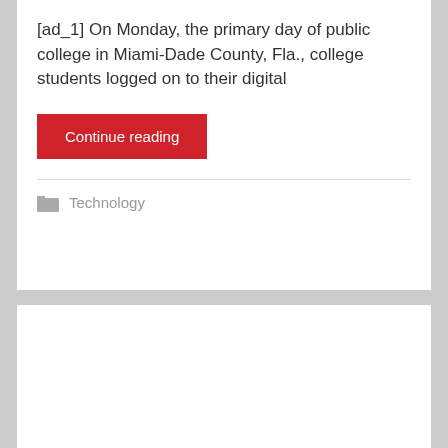[ad_1] On Monday, the primary day of public college in Miami-Dade County, Fla., college students logged on to their digital
Continue reading
Technology